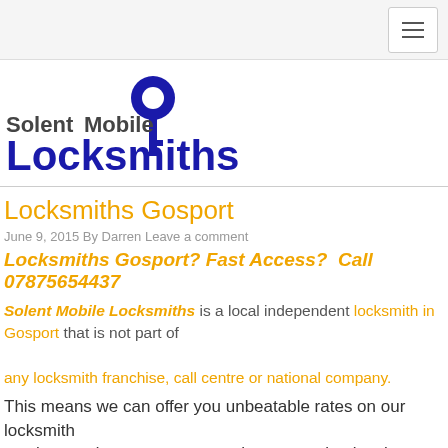[navigation bar with hamburger menu]
[Figure (logo): Solent Mobile Locksmiths logo with blue key icon and dark/blue text]
Locksmiths Gosport
June 9, 2015 By Darren Leave a comment
Locksmiths Gosport? Fast Access?  Call 07875654437
Solent Mobile Locksmiths is a local independent locksmith in Gosport that is not part of any locksmith franchise, call centre or national company.
This means we can offer you unbeatable rates on our locksmith services and guarantee to match any genuine local quotation